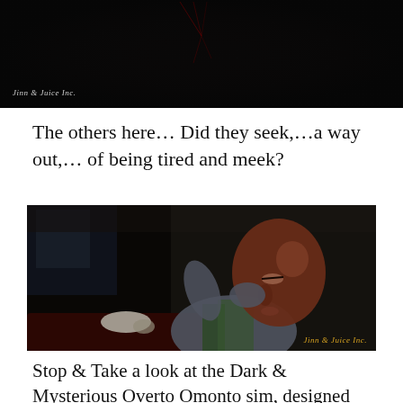[Figure (screenshot): Dark, mostly black screenshot from a 3D game or virtual world, with subtle red lines/cracks visible at top center, and a 'Jinn & Juice Inc.' watermark in italic text at the lower left corner.]
The others here… Did they seek,…a way out,… of being tired and meek?
[Figure (screenshot): 3D rendered bald character with reddish-brown skin, eyes closed, hand raised to face, wearing a green and grey outfit, seated at a dark red table in a dimly lit room. Watermark 'Jinn & Juice Inc.' in gold italic text at lower right.]
Stop & Take a look at the Dark & Mysterious Overto Omonto sim, designed by Romy Nayar.